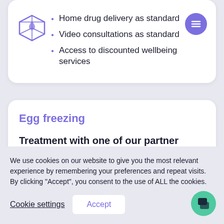[Figure (logo): Purple 3D cube logo icon]
Home drug delivery as standard
Video consultations as standard
Access to discounted wellbeing services
Egg freezing
Treatment with one of our partner clinics
We use cookies on our website to give you the most relevant experience by remembering your preferences and repeat visits. By clicking "Accept", you consent to the use of ALL the cookies.
Cookie settings
Accept